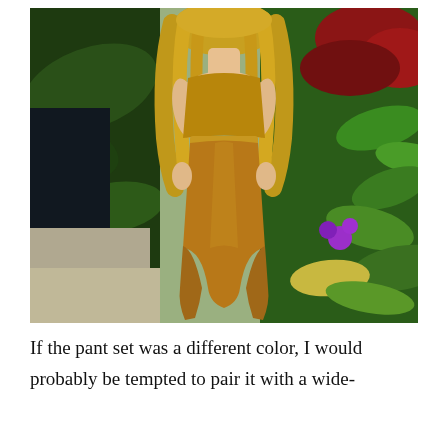[Figure (photo): A woman with long blonde wavy hair, seen from behind, wearing a mustard/golden-yellow crop top and matching high-waisted fitted pants, standing among lush tropical plants and flowers in what appears to be a botanical garden or greenhouse.]
If the pant set was a different color, I would probably be tempted to pair it with a wide-